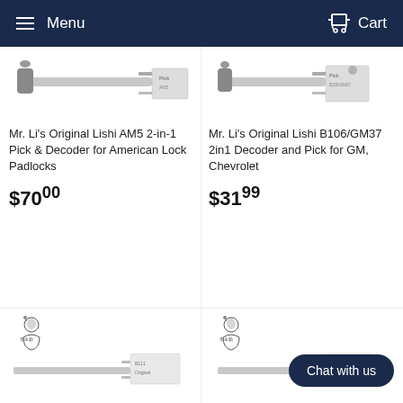Menu  Cart
[Figure (photo): Mr. Li's Original Lishi AM5 2-in-1 Pick & Decoder for American Lock Padlocks - product photo showing lock pick tool]
Mr. Li's Original Lishi AM5 2-in-1 Pick & Decoder for American Lock Padlocks
$70.00
[Figure (photo): Mr. Li's Original Lishi B106/GM37 2in1 Decoder and Pick for GM, Chevrolet - product photo showing lock pick tool]
Mr. Li's Original Lishi B106/GM37 2in1 Decoder and Pick for GM, Chevrolet
$31.99
[Figure (photo): Mr. Li's logo (portrait illustration with Chinese characters 李本勤) and lock pick tool product photo]
[Figure (photo): Mr. Li's logo (portrait illustration with Chinese characters 李本勤) and lock pick tool product photo, with Chat with us button overlay]
Chat with us